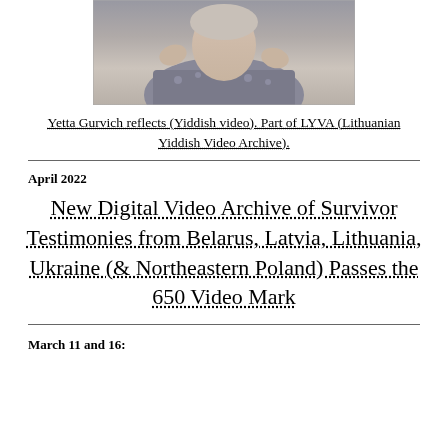[Figure (photo): Elderly woman in floral patterned clothing, gesturing with hands raised]
Yetta Gurvich reflects (Yiddish video). Part of LYVA (Lithuanian Yiddish Video Archive).
April 2022
New Digital Video Archive of Survivor Testimonies from Belarus, Latvia, Lithuania, Ukraine (& Northeastern Poland) Passes the 650 Video Mark
March 11 and 16: